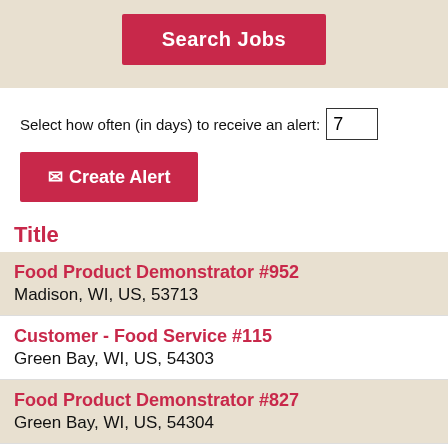[Figure (screenshot): Search Jobs button on a beige background]
Select how often (in days) to receive an alert: 7
[Figure (screenshot): Create Alert button with envelope icon]
Title
Food Product Demonstrator #952
Madison, WI, US, 53713
Customer - Food Service #115
Green Bay, WI, US, 54303
Food Product Demonstrator #827
Green Bay, WI, US, 54304
Customer - Food Service #456